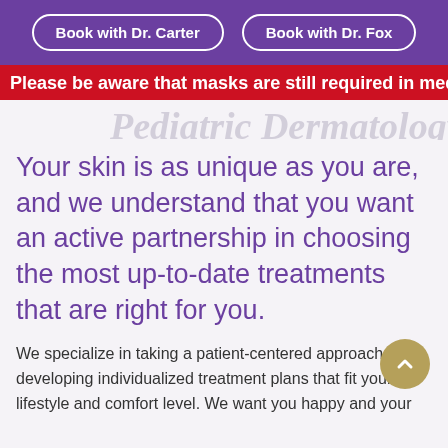Book with Dr. Carter | Book with Dr. Fox
Please be aware that masks are still required in medical facilities.
Pediatric Dermatology
Your skin is as unique as you are, and we understand that you want an active partnership in choosing the most up-to-date treatments that are right for you.
We specialize in taking a patient-centered approach to developing individualized treatment plans that fit your lifestyle and comfort level. We want you happy and your